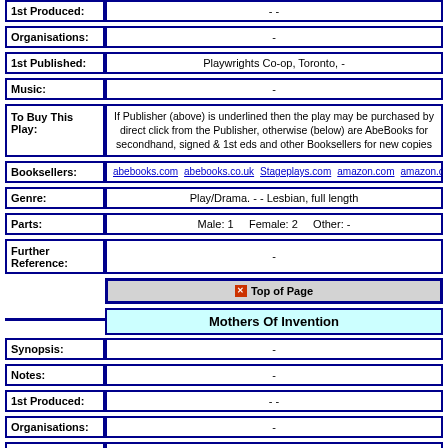| Field | Value |
| --- | --- |
| 1st Produced: | - - |
| Organisations: | - |
| 1st Published: | Playwrights Co-op, Toronto,  - |
| Music: | - |
| To Buy This Play: | If Publisher (above) is underlined then the play may be purchased by direct click from the Publisher, otherwise (below) are AbeBooks for secondhand, signed & 1st eds and other Booksellers for new copies |
| Booksellers: | abebooks.com  abebooks.co.uk  Stageplays.com  amazon.com  amazon.co.uk  ar |
| Genre: | Play/Drama. - - Lesbian, full length |
| Parts: | Male:  1      Female:  2      Other:  - |
| Further Reference: | - |
Top of Page
Mothers Of Invention
| Field | Value |
| --- | --- |
| Synopsis: | - |
| Notes: | - |
| 1st Produced: | - - |
| Organisations: | - |
| 1st Published: | Contained in: "Instant Applause volume Two" published by Blizzard  - |